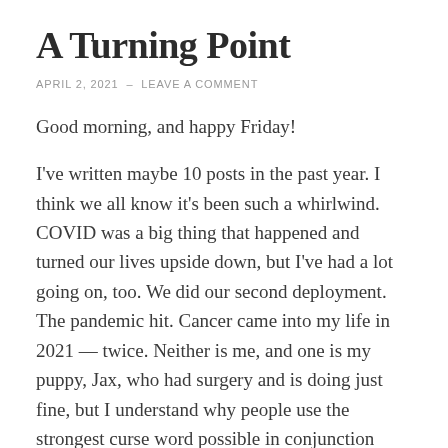A Turning Point
APRIL 2, 2021  –  LEAVE A COMMENT
Good morning, and happy Friday!
I've written maybe 10 posts in the past year. I think we all know it's been such a whirlwind. COVID was a big thing that happened and turned our lives upside down, but I've had a lot going on, too. We did our second deployment. The pandemic hit. Cancer came into my life in 2021 — twice. Neither is me, and one is my puppy, Jax, who had surgery and is doing just fine, but I understand why people use the strongest curse word possible in conjunction with this word.